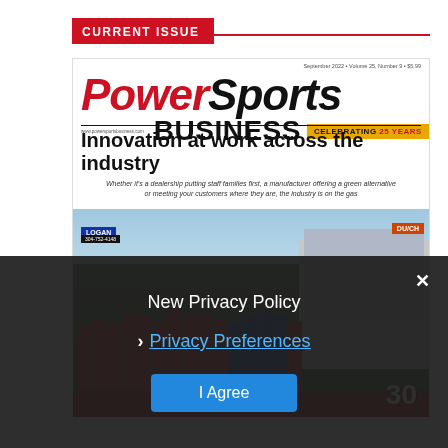CURRENT ISSUE
[Figure (photo): Magazine cover of PowerSports Business, September 2022, Volume 25 Number 9. Headline: Innovation at work across the industry. Subheadline: Whether it's a dealership putting staff families first, a manufacturer offering a green alternative or meeting your customers where they are, the industry is on the gas. Cover photo shows a group of people in red shirts standing in front of a motorcycle dealership.]
New Privacy Policy
› Privacy Preferences
I Agree